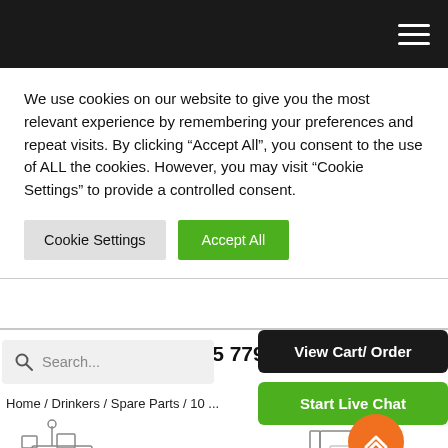Navigation bar with hamburger menu
We use cookies on our website to give you the most relevant experience by remembering your preferences and repeat visits. By clicking “Accept All”, you consent to the use of ALL the cookies. However, you may visit "Cookie Settings" to provide a controlled consent.
Cookie Settings | Accept All
+44 (0)1305 779944
Search...
View Cart/ Order
Start Live Chat
Home / Drinkers / Spare Parts / 10 ...
[Figure (illustration): Line drawing illustration of a drinker spare part component on the left side]
[Figure (illustration): Line drawing illustration of a drinker spare part component on the right side]